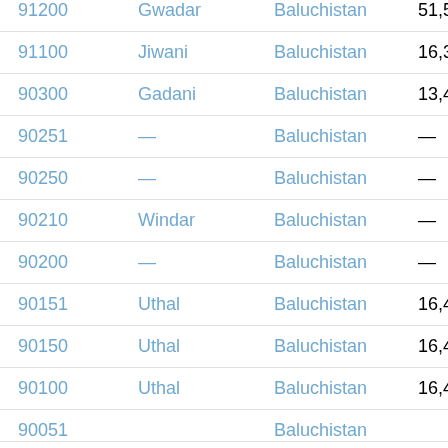| Postal Code | City | Province | Population |
| --- | --- | --- | --- |
| 91200 | Gwadar | Baluchistan | 51,581 |
| 91100 | Jiwani | Baluchistan | 16,322 |
| 90300 | Gadani | Baluchistan | 13,427 |
| 90251 | — | Baluchistan | — |
| 90250 | — | Baluchistan | — |
| 90210 | Windar | Baluchistan | — |
| 90200 | — | Baluchistan | — |
| 90151 | Uthal | Baluchistan | 16,483 |
| 90150 | Uthal | Baluchistan | 16,483 |
| 90100 | Uthal | Baluchistan | 16,483 |
| 90051 | — | Baluchistan | — |